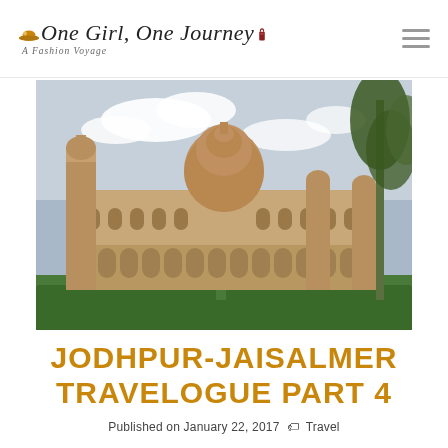One Girl, One Journey — A Fashion Voyage
[Figure (photo): Exterior photograph of Umaid Bhawan Palace in Jodhpur, India — a large sandstone palace with a central dome, flanking towers, and arcaded colonnades, set against a partly cloudy sky with trees visible on the right side and manicured hedges in the foreground.]
JODHPUR-JAISALMER TRAVELOGUE PART 4
Published on January 22, 2017 🏷 Travel